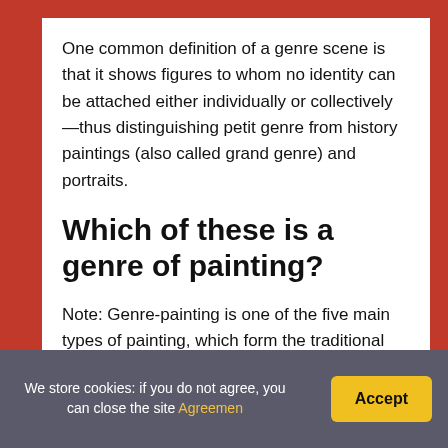One common definition of a genre scene is that it shows figures to whom no identity can be attached either individually or collectively —thus distinguishing petit genre from history paintings (also called grand genre) and portraits.
Which of these is a genre of painting?
Note: Genre-painting is one of the five main types of painting, which form the traditional Hierarchy of the Genres. The five include: history painting, portraiture, genre painting, landscape and still life.
We store cookies: if you do not agree, you can close the site Agreemen